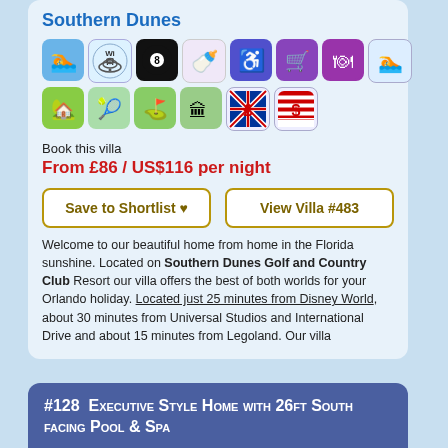Southern Dunes
[Figure (infographic): Two rows of amenity icons: swimming, WiFi, billiards/8-ball, stroller, wheelchair accessibility, shopping cart, dining, swimming; second row: house/palm tree, tennis, golf, gated community, GBP currency, USD currency]
Book this villa
From £86 / US$116 per night
Save to Shortlist ♥
View Villa #483
Welcome to our beautiful home from home in the Florida sunshine. Located on Southern Dunes Golf and Country Club Resort our villa offers the best of both worlds for your Orlando holiday. Located just 25 minutes from Disney World, about 30 minutes from Universal Studios and International Drive and about 15 minutes from Legoland. Our villa
#128  Executive Style Home with 26ft South facing Pool & Spa